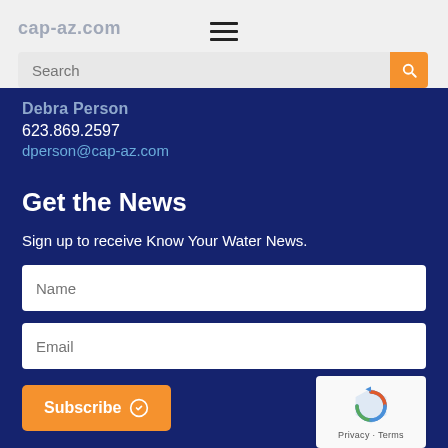623.869.2597
dperson@cap-az.com
Get the News
Sign up to receive Know Your Water News.
Name
Email
Subscribe